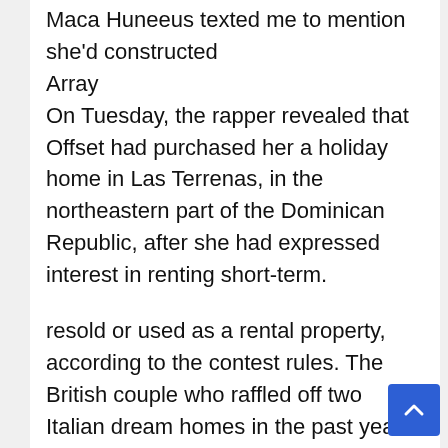Maca Huneeus texted me to mention she'd constructed
Array
On Tuesday, the rapper revealed that Offset had purchased her a holiday home in Las Terrenas, in the northeastern part of the Dominican Republic, after she had expressed interest in renting short-term.
resold or used as a rental property, according to the contest rules. The British couple who raffled off two Italian dream homes in the past year – a $517,000 vacation home in Tuscany.
Among the mobile apps and games nominated are the secret-sharing app Whisper, vacation rental site Airbnb and QuizUp. The viral ads